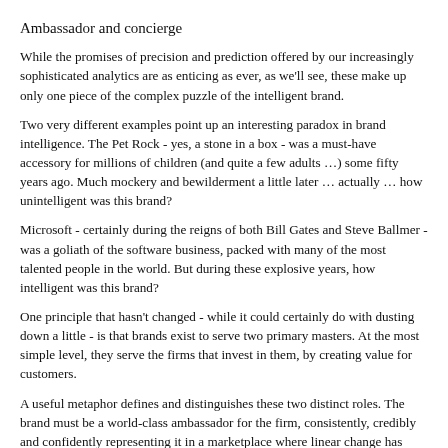Ambassador and concierge
While the promises of precision and prediction offered by our increasingly sophisticated analytics are as enticing as ever, as we'll see, these make up only one piece of the complex puzzle of the intelligent brand.
Two very different examples point up an interesting paradox in brand intelligence. The Pet Rock - yes, a stone in a box - was a must-have accessory for millions of children (and quite a few adults ...) some fifty years ago. Much mockery and bewilderment a little later ... actually ... how unintelligent was this brand?
Microsoft - certainly during the reigns of both Bill Gates and Steve Ballmer - was a goliath of the software business, packed with many of the most talented people in the world. But during these explosive years, how intelligent was this brand?
One principle that hasn't changed - while it could certainly do with dusting down a little - is that brands exist to serve two primary masters. At the most simple level, they serve the firms that invest in them, by creating value for customers.
A useful metaphor defines and distinguishes these two distinct roles. The brand must be a world-class ambassador for the firm, consistently, credibly and confidently representing it in a marketplace where linear change has been supplanted by what we call "permanent turbulence". And it must recognise and respond to the ever-shifting circumstances of the modern customer, with the same timely, almost magical understanding of their needs and experience from a favourite concierge.